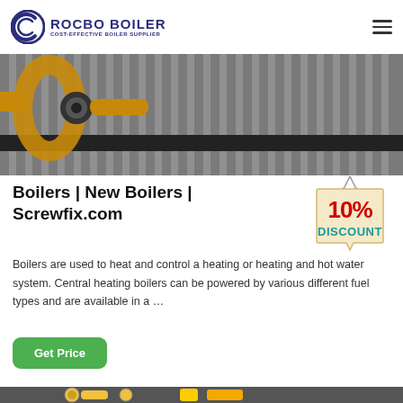ROCBO BOILER — COST-EFFECTIVE BOILER SUPPLIER
[Figure (photo): Industrial boiler equipment photo showing yellow pipes and machinery against a corrugated metal background]
Boilers | New Boilers | Screwfix.com
[Figure (infographic): 10% DISCOUNT badge — a hanging sign graphic with red and teal text on a beige/cream tag]
Boilers are used to heat and control a heating or heating and hot water system. Central heating boilers can be powered by various different fuel types and are available in a …
Get Price
[Figure (photo): Partial bottom strip of another industrial boiler equipment photo]